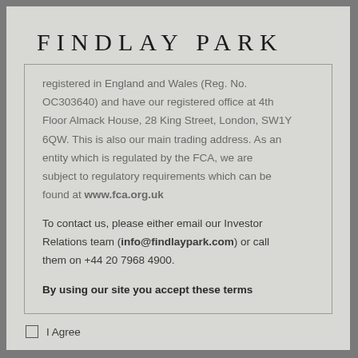FINDLAY PARK
registered in England and Wales (Reg. No. OC303640) and have our registered office at 4th Floor Almack House, 28 King Street, London, SW1Y 6QW. This is also our main trading address. As an entity which is regulated by the FCA, we are subject to regulatory requirements which can be found at www.fca.org.uk
To contact us, please either email our Investor Relations team (info@findlaypark.com) or call them on +44 20 7968 4900.
By using our site you accept these terms
I Agree